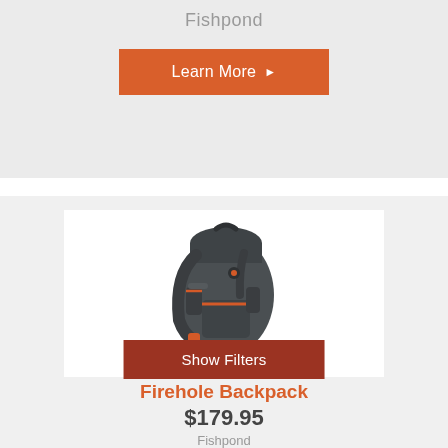Fishpond
[Figure (other): Orange 'Learn More' button with right-pointing arrow, on light gray background]
[Figure (photo): Dark gray/charcoal fishing backpack with orange accents and multiple pockets and straps]
[Figure (other): Dark red 'Show Filters' button overlay on product image]
Firehole Backpack
$179.95
Fishpond